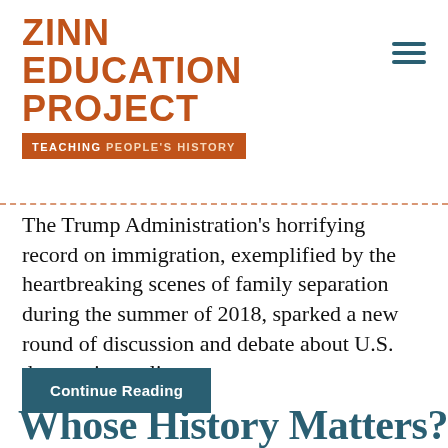[Figure (logo): Zinn Education Project logo with text 'ZINN EDUCATION PROJECT' in orange bold uppercase and tagline bar 'TEACHING PEOPLE'S HISTORY']
The Trump Administration's horrifying record on immigration, exemplified by the heartbreaking scenes of family separation during the summer of 2018, sparked a new round of discussion and debate about U.S. deportation policy.
Continue Reading
Whose History Matters?